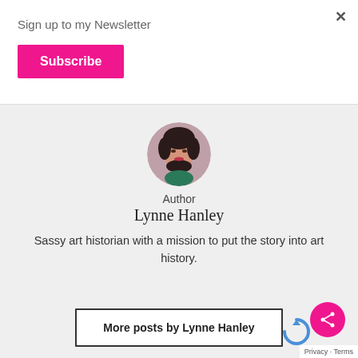Sign up to my Newsletter
Subscribe
×
[Figure (photo): Circular portrait photo of author Lynne Hanley, a woman with dark wavy hair]
Author
Lynne Hanley
Sassy art historian with a mission to put the story into art history.
More posts by Lynne Hanley